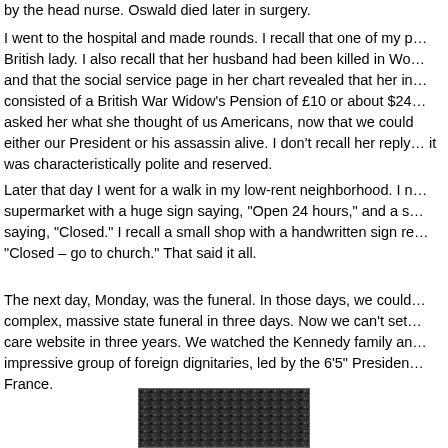by the head nurse. Oswald died later in surgery.
I went to the hospital and made rounds. I recall that one of my patients was a British lady. I also recall that her husband had been killed in World War II and that the social service page in her chart revealed that her income consisted of a British War Widow's Pension of £10 or about $24 a month. I asked her what she thought of us Americans, now that we could not keep either our President or his assassin alive. I don't recall her reply, but I know it was characteristically polite and reserved.
Later that day I went for a walk in my low-rent neighborhood. I noticed a supermarket with a huge sign saying, "Open 24 hours," and a small sign saying, "Closed." I recall a small shop with a handwritten sign reading, "Closed – go to church." That said it all.
The next day, Monday, was the funeral. In those days, we could organize a complex, massive state funeral in three days. Now we can't set up a health care website in three years. We watched the Kennedy family and an impressive group of foreign dignitaries, led by the 6'5" President de Gaulle of France.
[Figure (photo): Black and white photograph of a large crowd of people, likely at a funeral or public gathering.]